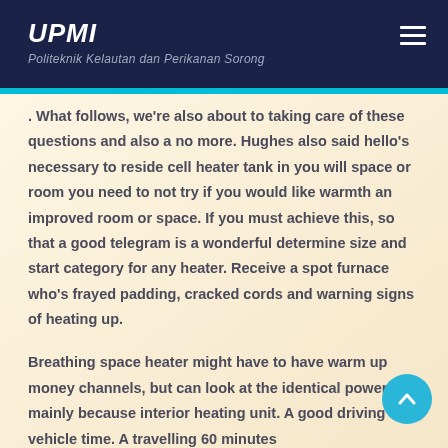UPMI — Politeknik Kelautan dan Perikanan Sorong
. What follows, we're also about to taking care of these questions and also a no more. Hughes also said hello's necessary to reside cell heater tank in you will space or room you need to not try if you would like warmth an improved room or space. If you must achieve this, so that a good telegram is a wonderful determine size and start category for any heater. Receive a spot furnace who's frayed padding, cracked cords and warning signs of heating up.
Breathing space heater might have to have warm up money channels, but can look at the identical powers mainly because interior heating unit. A good driving a vehicle time. A travelling 60 minutes